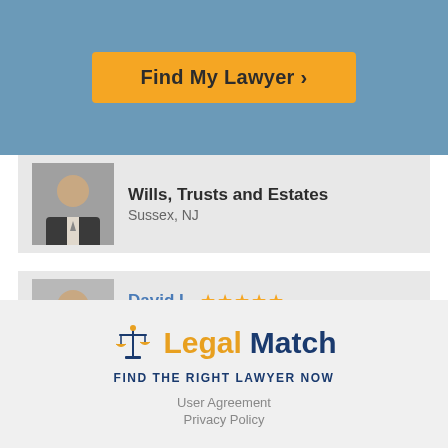[Figure (other): Orange 'Find My Lawyer >' button on blue banner background]
[Figure (photo): Lawyer profile card: man in suit, Wills, Trusts and Estates, Sussex, NJ]
[Figure (photo): Lawyer profile card: David L., 5 stars, Wills, Trusts and Estates, Ashland, OH]
[Figure (logo): LegalMatch logo with scales of justice icon and tagline FIND THE RIGHT LAWYER NOW]
User Agreement
Privacy Policy